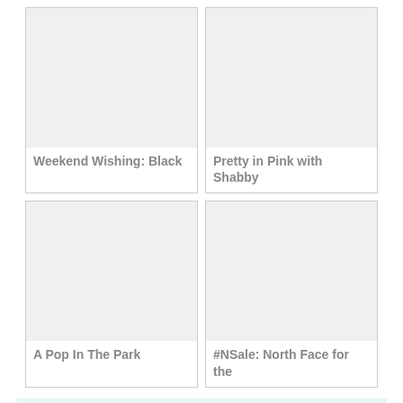[Figure (screenshot): Card image placeholder top-left (light gray rectangle)]
Weekend Wishing: Black
[Figure (screenshot): Card image placeholder top-right (light gray rectangle)]
Pretty in Pink with Shabby
[Figure (screenshot): Card image placeholder bottom-left (light gray rectangle)]
A Pop In The Park
[Figure (screenshot): Card image placeholder bottom-right (light gray rectangle)]
#NSale: North Face for the
&url=" title="Click to share this post on Twitter">Tweet It
Pin
Share